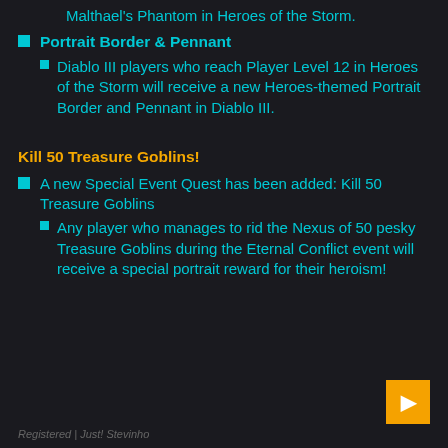Malthael's Phantom in Heroes of the Storm.
Portrait Border & Pennant
Diablo III players who reach Player Level 12 in Heroes of the Storm will receive a new Heroes-themed Portrait Border and Pennant in Diablo III.
Kill 50 Treasure Goblins!
A new Special Event Quest has been added: Kill 50 Treasure Goblins
Any player who manages to rid the Nexus of 50 pesky Treasure Goblins during the Eternal Conflict event will receive a special portrait reward for their heroism!
Registered | Just! Stevinho